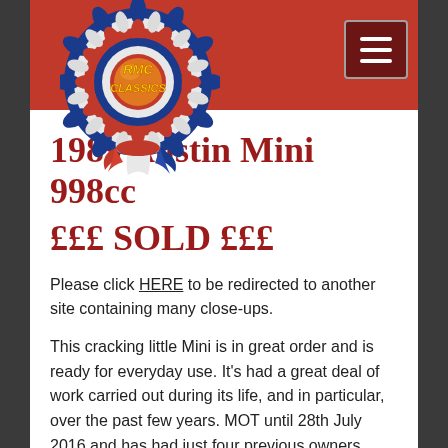[Figure (logo): RMC Classics rosette logo — circular blue and white frilled rosette with orange center reading 'RMC CLASSICS' in yellow text, with red and blue ribbons trailing below]
1989 Austin Mini 998cc
£££ SOLD £££
Please click HERE to be redirected to another site containing many close-ups.
This cracking little Mini is in great order and is ready for everyday use. It's had a great deal of work carried out during its life, and in particular, over the past few years. MOT until 28th July 2016 and has had just four previous owners.